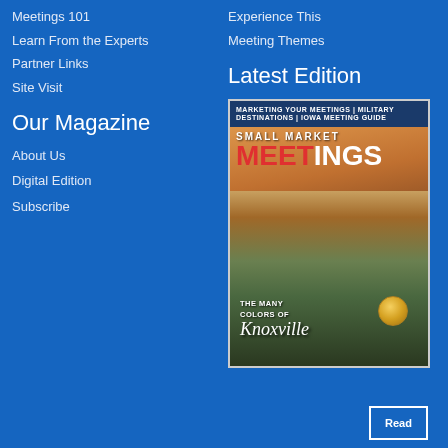Meetings 101
Experience This
Learn From the Experts
Meeting Themes
Partner Links
Site Visit
Our Magazine
Latest Edition
About Us
Digital Edition
Subscribe
[Figure (photo): Cover of Small Market Meetings magazine featuring an aerial view of Knoxville, Tennessee with the Sunsphere visible. The cover reads SMALL MARKET MEETINGS with headline THE MANY COLORS OF Knoxville.]
Read